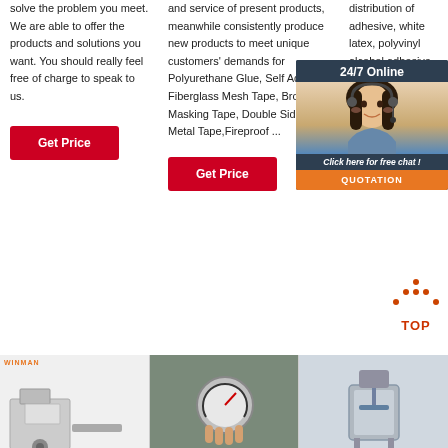solve the problem you meet. We are able to offer the products and solutions you want. You should really feel free of charge to speak to us.
[Figure (other): Red 'Get Price' button]
and service of present products, meanwhile consistently produce new products to meet unique customers' demands for Polyurethane Glue, Self Adhesive Fiberglass Mesh Tape, Brown Masking Tape, Double Sided Metal Tape,Fireproof ...
[Figure (other): Red 'Get Price' button]
distribution of adhesive, white latex, polyvinyl alcohol adhesive, pu glue best-se... marke...
[Figure (other): 24/7 Online chat widget with customer service agent photo, 'Click here for free chat!' text, red Get button and orange QUOTATION button]
[Figure (other): TOP scroll-to-top icon with orange dots triangle and red TOP text]
[Figure (photo): Bottom row: three product/machine images. First with WINMAN logo, second showing a pressure gauge being held, third showing industrial mixing equipment.]